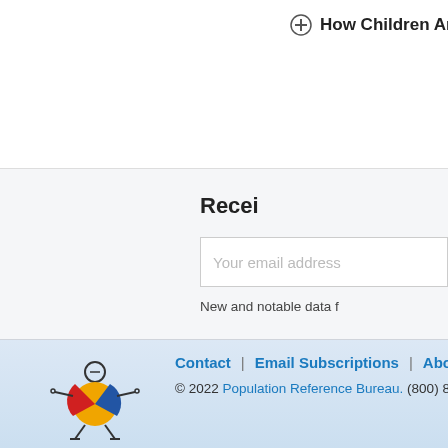+ How Children Are
Recei
Your email address
New and notable data f
Contact | Email Subscriptions | About | He
© 2022 Population Reference Bureau. (800) 877-9881